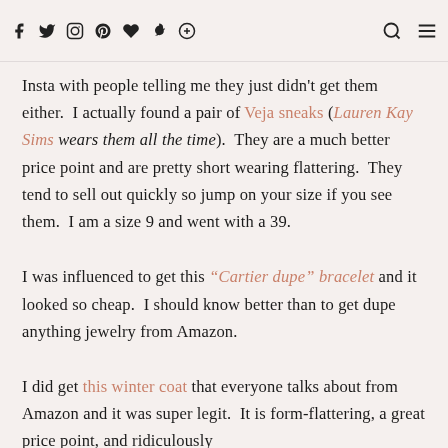Social media icons: Facebook, Twitter, Instagram, Pinterest, Heart, Snapchat, Shield | Search icon | Menu icon
Insta with people telling me they just didn't get them either. I actually found a pair of Veja sneaks (Lauren Kay Sims wears them all the time). They are a much better price point and are pretty short wearing flattering. They tend to sell out quickly so jump on your size if you see them. I am a size 9 and went with a 39.
I was influenced to get this "Cartier dupe" bracelet and it looked so cheap. I should know better than to get dupe anything jewelry from Amazon.
I did get this winter coat that everyone talks about from Amazon and it was super legit. It is form-flattering, a great price point, and ridiculously...